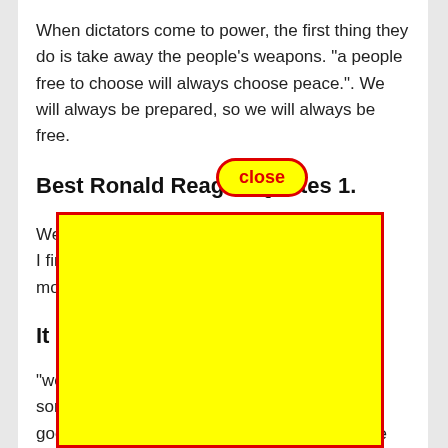When dictators come to power, the first thing they do is take away the people's weapons. “a people free to choose will always choose peace.”. We will always be prepared, so we will always be free.
Best Ronald Reagan Quotes 1.
We d… am. I find… mov…
It B…
“we d… som… good you can do if you don’t care who gets the